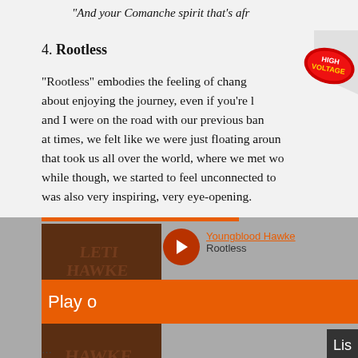“And your Comanche spirit that’s afr…
4. Rootless
“Rootless” embodies the feeling of chang… about enjoying the journey, even if you’re l… and I were on the road with our previous ban… at times, we felt like we were just floating aroun… that took us all over the world, where we met w… while though, we started to feel unconnected to… was also very inspiring, very eye-opening.
[Figure (screenshot): Music player widget showing Youngblood Hawke - Rootless with album art, play button, orange Play bar, and Listen button on grey background]